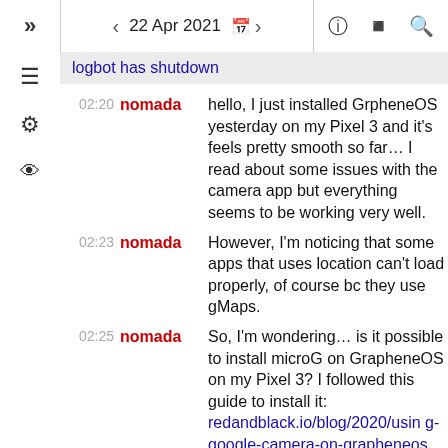» < 22 Apr 2021 [calendar] > (i) [chart] [search]
logbot has shutdown
02:20 nomada hello, I just installed GrpheneOS yesterday on my Pixel 3 and it's feels pretty smooth so far… I read about some issues with the camera app but everything seems to be working very well.
02:23 nomada However, I'm noticing that some apps that uses location can't load properly, of course bc they use gMaps.
02:25 nomada So, I'm wondering… is it possible to install microG on GrapheneOS on my Pixel 3? I followed this guide to install it: redandblack.io/blog/2020/using-google-camera-on-grapheneos but I'm not sure what to do later. What app